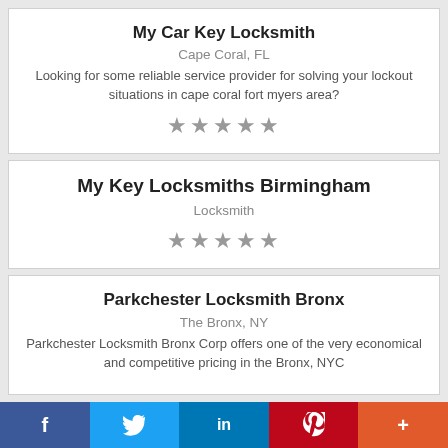My Car Key Locksmith
Cape Coral, FL
Looking for some reliable service provider for solving your lockout situations in cape coral fort myers area?
[Figure (other): Five star rating icons (empty stars)]
My Key Locksmiths Birmingham
Locksmith
[Figure (other): Five star rating icons (empty stars)]
Parkchester Locksmith Bronx
The Bronx, NY
Parkchester Locksmith Bronx Corp offers one of the very economical and competitive pricing in the Bronx, NYC
f  [Twitter bird]  in  P  +